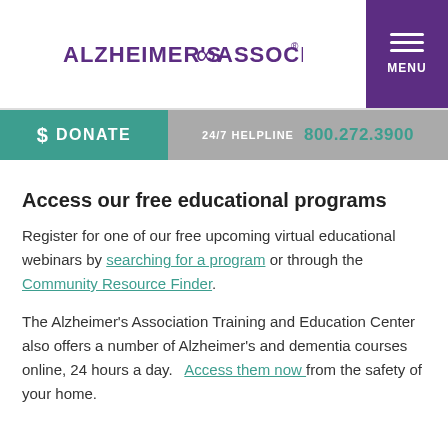[Figure (logo): Alzheimer's Association logo with purple text and infinity symbol]
$ DONATE   24/7 HELPLINE   800.272.3900
Access our free educational programs
Register for one of our free upcoming virtual educational webinars by searching for a program or through the Community Resource Finder.
The Alzheimer's Association Training and Education Center also offers a number of Alzheimer's and dementia courses online, 24 hours a day.   Access them now from the safety of your home.